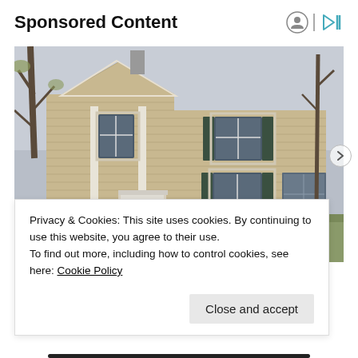Sponsored Content
[Figure (photo): Two-story colonial-style house with beige/tan horizontal siding, white trim columns, front door, multiple windows with dark shutters, surrounded by bare trees and evergreen shrubs, photographed in early spring or fall.]
Privacy & Cookies: This site uses cookies. By continuing to use this website, you agree to their use.
To find out more, including how to control cookies, see here: Cookie Policy
Close and accept